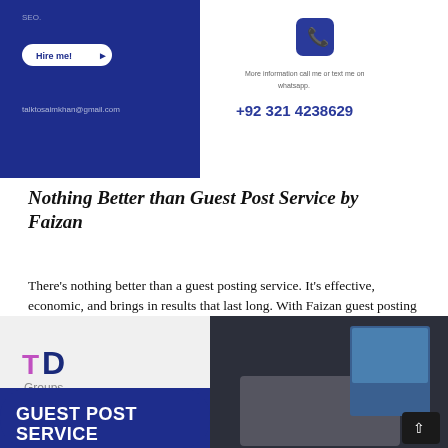[Figure (infographic): Dark blue banner with hire me button, email address on left, phone icon and contact number on right. Text: SEO., Hire me!, talktosaimkhan@gmail.com, More information call me or text me on whatsapp, +92 321 4238629]
Nothing Better than Guest Post Service by Faizan
There’s nothing better than a guest posting service. It’s effective, economic, and brings in results that last long. With Faizan guest posting service, you can…
[Figure (infographic): Bottom banner image with TD Groups logo on white/light background left side, dark navy blue rounded shape with GUEST POST SERVICE text in white bold, right side shows hands typing on laptop keyboard in dark background]